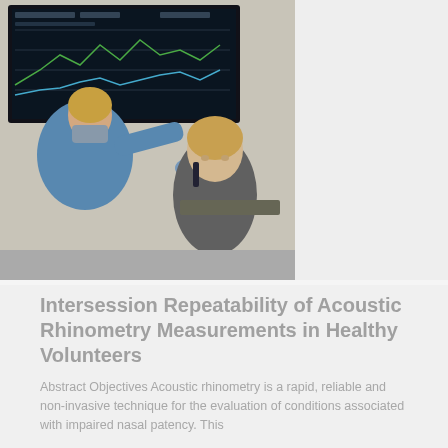[Figure (photo): Medical professional in blue scrubs and gloves performing acoustic rhinometry procedure on a seated patient, with a monitor displaying rhinometry data visible in the background.]
Intersession Repeatability of Acoustic Rhinometry Measurements in Healthy Volunteers
Abstract Objectives Acoustic rhinometry is a rapid, reliable and non-invasive technique for the evaluation of conditions associated with impaired nasal patency. This